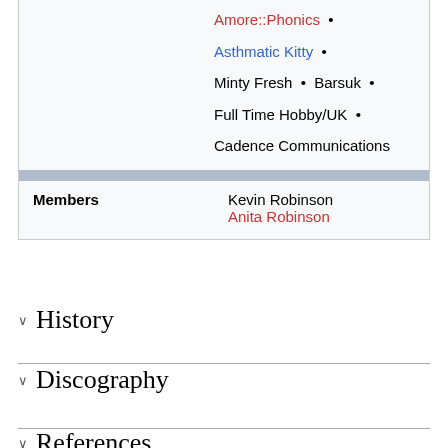|  |  |
| --- | --- |
|  | Amore::Phonics •
Asthmatic Kitty •
Minty Fresh • Barsuk •
Full Time Hobby/UK •
Cadence Communications |
| Members | Kevin Robinson
Anita Robinson |
History
Discography
References